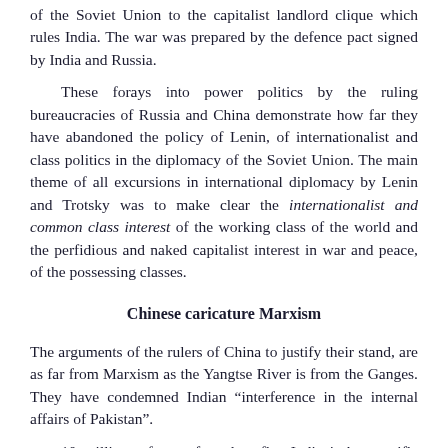of the Soviet Union to the capitalist landlord clique which rules India. The war was prepared by the defence pact signed by India and Russia.
These forays into power politics by the ruling bureaucracies of Russia and China demonstrate how far they have abandoned the policy of Lenin, of internationalist and class politics in the diplomacy of the Soviet Union. The main theme of all excursions in international diplomacy by Lenin and Trotsky was to make clear the internationalist and common class interest of the working class of the world and the perfidious and naked capitalist interest in war and peace, of the possessing classes.
Chinese caricature Marxism
The arguments of the rulers of China to justify their stand, are as far from Marxism as the Yangtse River is from the Ganges. They have condemned Indian “interference in the internal affairs of Pakistan”.
10 million refugees forced to flee India is but a trifle when weighed against the “sacred principles of national sovereignty”. The aid given to the Ayub Khan regime and then that of the even more brutally repressive one of Yahya Khan, and his direct role in